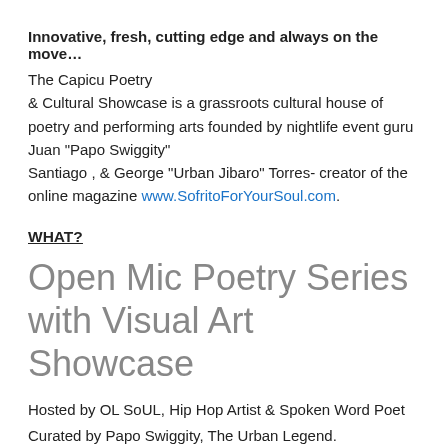Innovative, fresh, cutting edge and always on the move…
The Capicu Poetry & Cultural Showcase is a grassroots cultural house of poetry and performing arts founded by nightlife event guru Juan "Papo Swiggity" Santiago , & George "Urban Jibaro" Torres- creator of the online magazine www.SofritoForYourSoul.com.
WHAT?
Open Mic Poetry Series with Visual Art Showcase
Hosted by OL SoUL, Hip Hop Artist & Spoken Word Poet
Curated by Papo Swiggity, The Urban Legend.
WHERE?